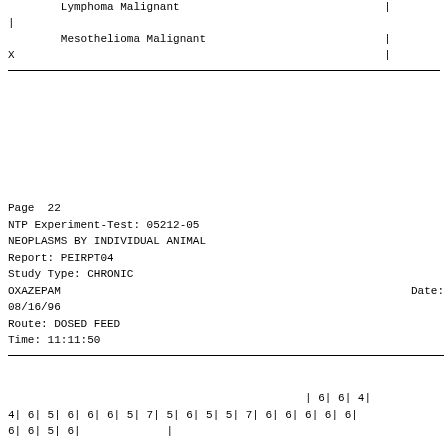Lymphoma Malignant                               |
|
Mesothelioma Malignant                           |
X                                                        |
Page  22
NTP Experiment-Test: 05212-05
NEOPLASMS BY INDIVIDUAL ANIMAL
Report: PEIRPT04
Study Type: CHRONIC
OXAZEPAM                                                     Date:
08/16/96
Route: DOSED FEED
Time: 11:11:50
| 6| 6| 4|
4| 6| 5| 6| 6| 6| 5| 7| 5| 6| 5| 5| 7| 6| 6| 6| 6| 6|
6| 6| 5| 6|             |